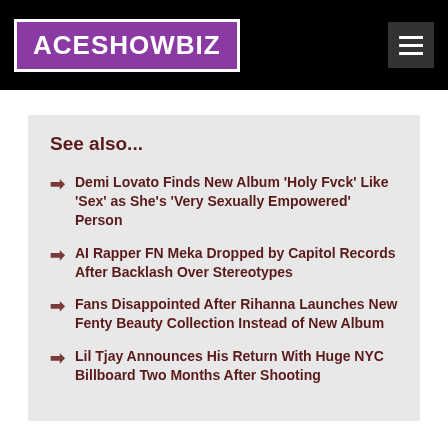ACESHOWBIZ
See also...
Demi Lovato Finds New Album 'Holy Fvck' Like 'Sex' as She's 'Very Sexually Empowered' Person
AI Rapper FN Meka Dropped by Capitol Records After Backlash Over Stereotypes
Fans Disappointed After Rihanna Launches New Fenty Beauty Collection Instead of New Album
Lil Tjay Announces His Return With Huge NYC Billboard Two Months After Shooting